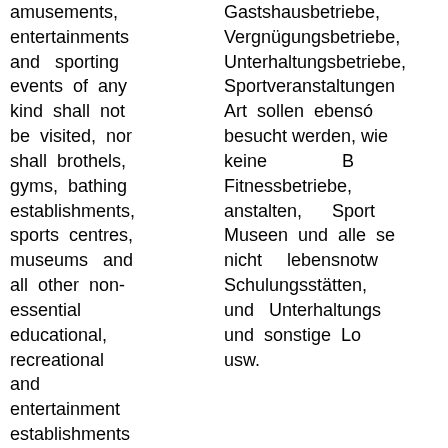amusements, entertainments and sporting events of any kind shall not be visited, nor shall brothels, gyms, bathing establishments, sports centres, museums and all other non-essential educational, recreational and entertainment establishments and other places, etc.
Gastshausbetriebe, Vergnügungsbetriebe, Unterhaltungsbetriebe, Sportveranstaltungen Art sollen ebensо besucht werden, wie keine B Fitnessbetriebe, anstalten, Sport Museen und alle se nicht lebensnotw Schulungsstätten, und Unterhaltungs und sonstige Lo usw.